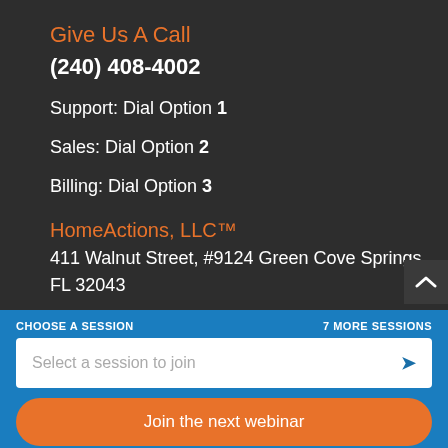Give Us A Call
(240) 408-4002
Support: Dial Option 1
Sales: Dial Option 2
Billing: Dial Option 3
HomeActions, LLC™
411 Walnut Street, #9124 Green Cove Springs, FL 32043
CHOOSE A SESSION
7 MORE SESSIONS
Select a session to join
Join the next webinar